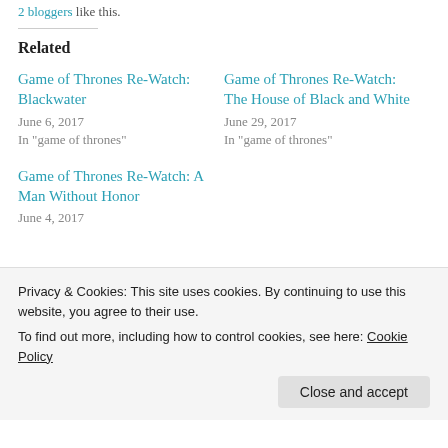2 bloggers like this.
Related
Game of Thrones Re-Watch: Blackwater
June 6, 2017
In "game of thrones"
Game of Thrones Re-Watch: The House of Black and White
June 29, 2017
In "game of thrones"
Game of Thrones Re-Watch: A Man Without Honor
June 4, 2017
Privacy & Cookies: This site uses cookies. By continuing to use this website, you agree to their use.
To find out more, including how to control cookies, see here: Cookie Policy
Close and accept